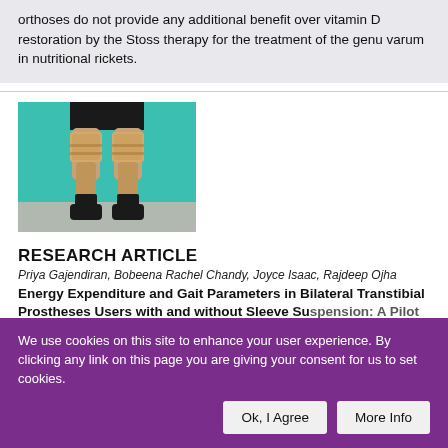orthoses do not provide any additional benefit over vitamin D restoration by the Stoss therapy for the treatment of the genu varum in nutritional rickets.
[Figure (photo): Photo of a person's lower legs wearing bilateral transtibial prostheses with knee braces, against a teal/green background. The person wears black shorts and black shoes.]
RESEARCH ARTICLE
Priya Gajendiran, Bobeena Rachel Chandy, Joyce Isaac, Rajdeep Ojha
Energy Expenditure and Gait Parameters in Bilateral Transtibial Prostheses Users with and without Sleeve Suspension: A Pilot Study
We use cookies on this site to enhance your user experience. By clicking any link on this page you are giving your consent for us to set cookies.